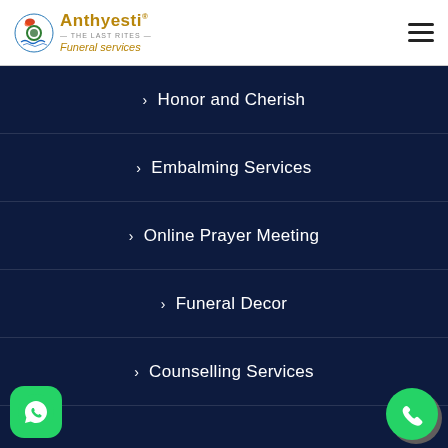[Figure (logo): Anthyesti Funeral Services logo with decorative circular emblem on left and text 'Anthyesti® THE LAST RITES Funeral services' on right]
Honor and Cherish
Embalming Services
Online Prayer Meeting
Funeral Decor
Counselling Services
Location
Bangalore